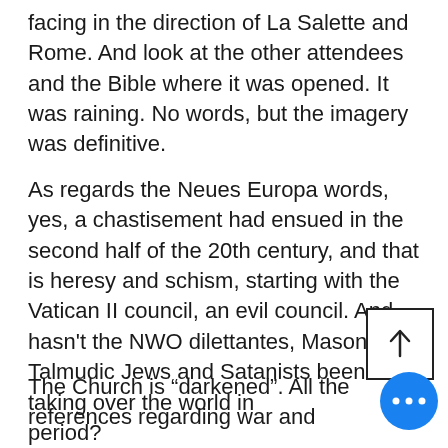facing in the direction of La Salette and Rome. And look at the other attendees and the Bible where it was opened. It was raining. No words, but the imagery was definitive.
As regards the Neues Europa words, yes, a chastisement had ensued in the second half of the 20th century, and that is heresy and schism, starting with the Vatican II council, an evil council. And hasn't the NWO dilettantes, Masons, Talmudic Jews and Satanists been busy taking over the world in that period?
The Church is “darkened”. All the references regarding war and